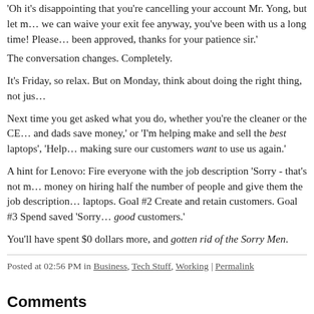'Oh it's disappointing that you're cancelling your account Mr. Yong, but let me see if we can waive your exit fee anyway, you've been with us a long time! Please wait…it's been approved, thanks for your patience sir.'
The conversation changes. Completely.
It's Friday, so relax. But on Monday, think about doing the right thing, not jus…
Next time you get asked what you do, whether you're the cleaner or the CEO, say 'I help mums and dads save money,' or 'I'm helping make and sell the best laptops', 'Helping make sure our customers want to use us again.'
A hint for Lenovo: Fire everyone with the job description 'Sorry - that's not my department.' Spend money on hiring half the number of people and give them the job description: Goal #1 Make and sell great laptops. Goal #2 Create and retain customers. Goal #3 Spend saved 'Sorry - that's not my department' money on keeping good customers.'
You'll have spent $0 dollars more, and gotten rid of the Sorry Men.
Posted at 02:56 PM in Business, Tech Stuff, Working | Permalink
Comments
You can follow this conversation by subscribing to the comment feed for this p…
Richard, you've a great gift - by having a way with your words, I've e… blogging very much.
One thing I'd like to comment about is that there are two kinds of co… its customers and the other who doesn't, lenovo falls in the latter cat…